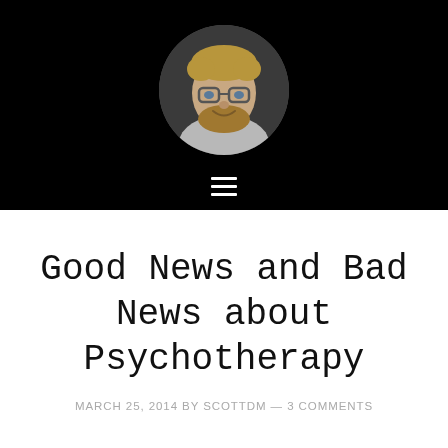[Figure (photo): Circular cropped headshot of a middle-aged man with glasses and a beard, smiling, wearing a light grey t-shirt, on a black background]
Good News and Bad News about Psychotherapy
MARCH 25, 2014 BY SCOTTDM — 3 COMMENTS